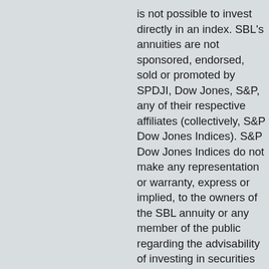is not possible to invest directly in an index. SBL's annuities are not sponsored, endorsed, sold or promoted by SPDJI, Dow Jones, S&P, any of their respective affiliates (collectively, S&P Dow Jones Indices). S&P Dow Jones Indices do not make any representation or warranty, express or implied, to the owners of the SBL annuity or any member of the public regarding the advisability of investing in securities generally or in purchasing SBL's annuity product particularly or the ability of the S&P Multi-Asset Risk Control (MARC) 5% Index to track general market performance. Past performance of an index is not an indication or guarantee of future results. S&P Dow Jones Indices only relationship to SBL with respect to the S&P MARC 5 Index is the licensing of the Index and certain trademarks, service marks and/or trade names of S&P Dow Jones Indices and/or its licensors. The S&P MARC 5 Index is determined, composed